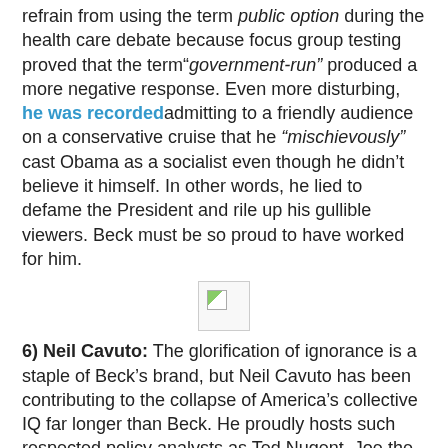refrain from using the term public option during the health care debate because focus group testing proved that the term "government-run" produced a more negative response. Even more disturbing, he was recorded admitting to a friendly audience on a conservative cruise that he "mischievously" cast Obama as a socialist even though he didn't believe it himself. In other words, he lied to defame the President and rile up his gullible viewers. Beck must be so proud to have worked for him.
[Figure (other): Broken image placeholder icon]
6) Neil Cavuto: The glorification of ignorance is a staple of Beck's brand, but Neil Cavuto has been contributing to the collapse of America's collective IQ far longer than Beck. He proudly hosts such respected policy analysts as Ted Nugent, Joe the Plumber, and any random Tea Bagger to help him unravel our nation's dilemmas. One of his favorite idiocies is his insistence that Climate Change is a hoax because it gets cold in the winter. But Cavuto really shines when he brings in guests whose only connection to the segment is a juvenile pun. For instance, in a discussion about whether Tea Party support was grassroots or AstroTurf, Cavuto